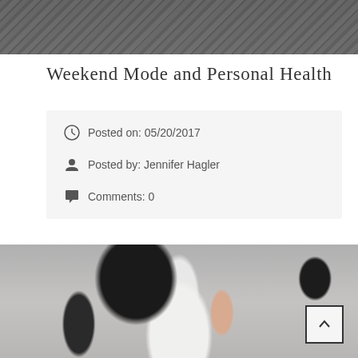[Figure (photo): Top portion of a fashion/lifestyle blog header photo, dark toned image]
Weekend Mode and Personal Health
Posted on: 05/20/2017
Posted by: Jennifer Hagler
Comments: 0
[Figure (photo): Fashion blog photo of a woman wearing a black jacket over white shirt with a pink crossbody bag, street style photography]